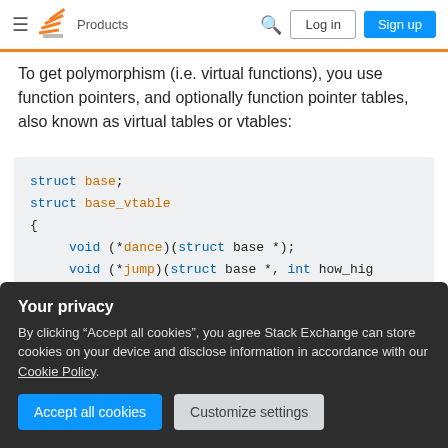≡ [Stack Overflow logo] Products 🔍 Log in Sign up
To get polymorphism (i.e. virtual functions), you use function pointers, and optionally function pointer tables, also known as virtual tables or vtables:
[Figure (screenshot): Code block showing C struct definitions with syntax highlighting: struct base; struct base_vtable { void (*dance)(struct base *); void (*jump)(struct base *, int how_hig }; struct base {]
Your privacy
By clicking "Accept all cookies", you agree Stack Exchange can store cookies on your device and disclose information in accordance with our Cookie Policy.
Accept all cookies  Customize settings